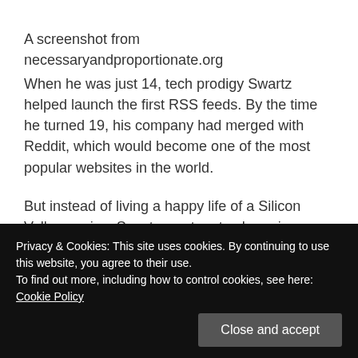A screenshot from necessaryandproportionate.org
When he was just 14, tech prodigy Swartz helped launch the first RSS feeds. By the time he turned 19, his company had merged with Reddit, which would become one of the most popular websites in the world.
But instead of living a happy life of a Silicon Valley genius, Swartz went on to champion a free internet, becoming a political activist calling for others to join.
“This isn’t something playing out on stage somewhere
Privacy & Cookies: This site uses cookies. By continuing to use this website, you agree to their use.
To find out more, including how to control cookies, see here: Cookie Policy
Close and accept
every week. There are bills that are coming up that